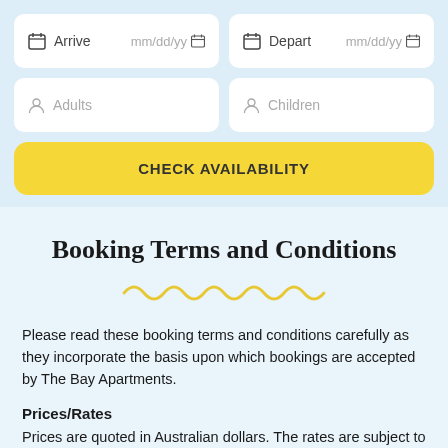[Figure (screenshot): Booking widget with Arrive/Depart date inputs, Adults/Children person inputs, and a yellow CHECK AVAILABILITY button, on a light blue background.]
Booking Terms and Conditions
[Figure (illustration): Decorative yellow wavy/squiggly line divider]
Please read these booking terms and conditions carefully as they incorporate the basis upon which bookings are accepted by The Bay Apartments.
Prices/Rates
Prices are quoted in Australian dollars. The rates are subject to change without notice and the pricing confirmed by the property...